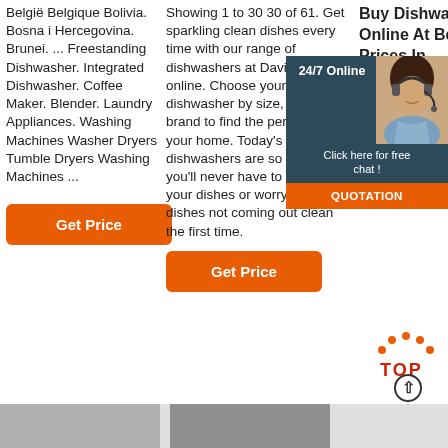België Belgique Bolivia. Bosna i Hercegovina. Brunei. ... Freestanding Dishwasher. Integrated Dishwasher. Coffee Maker. Blender. Laundry Appliances. Washing Machines Washer Dryers Tumble Dryers Washing Machines ...
Get Price
Showing 1 to 30 30 of 61. Get sparkling clean dishes every time with our range of dishwashers at David Jones online. Choose your dishwasher by size, features or brand to find the perfect fit for your home. Today's dishwashers are so advanced, you'll never have to pre-wash your dishes or worry about dishes not coming out clean the first time.
Get Price
Buy Dishwashers Online At Best Prices In ...
Fortune Dishwas... Salt 2 Kg... 3) - Com... with all D... Brands 4 stars 59 550 (₹183.33... ₹600 ₹6... ₹50 (8%...
[Figure (photo): Customer service representative with headset, chat widget overlay with '24/7 Online', 'Click here for free chat!' and 'QUOTATION' button]
Get Price
[Figure (illustration): TOP scroll-to-top icon with upward arrow]